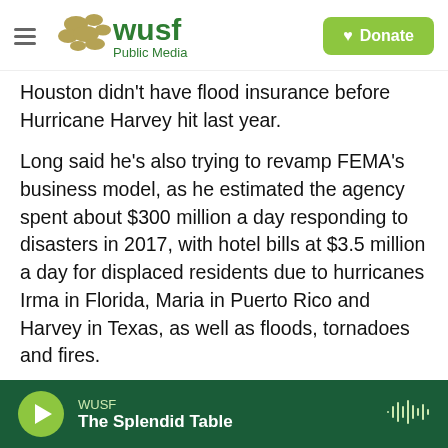WUSF Public Media | Donate
Houston didn't have flood insurance before Hurricane Harvey hit last year.
Long said he's also trying to revamp FEMA's business model, as he estimated the agency spent about $300 million a day responding to disasters in 2017, with hotel bills at $3.5 million a day for displaced residents due to hurricanes Irma in Florida, Maria in Puerto Rico and Harvey in Texas, as well as floods, tornadoes and fires.
“The bottom line is that my operational capacity internally does not grow with the number of events that we have,” Long said.
WUSF | The Splendid Table